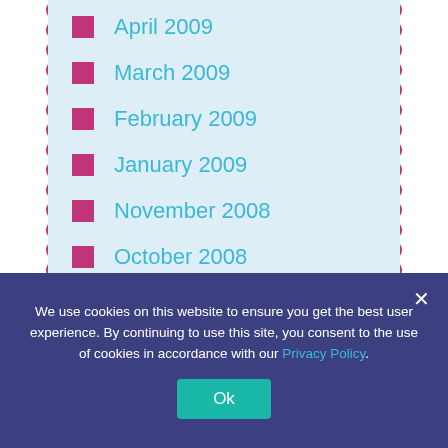April 2009
March 2009
February 2009
January 2009
November 2008
October 2008
June 2008
June 2007
April 2007
March 2007
We use cookies on this website to ensure you get the best user experience. By continuing to use this site, you consent to the use of cookies in accordance with our Privacy Policy.